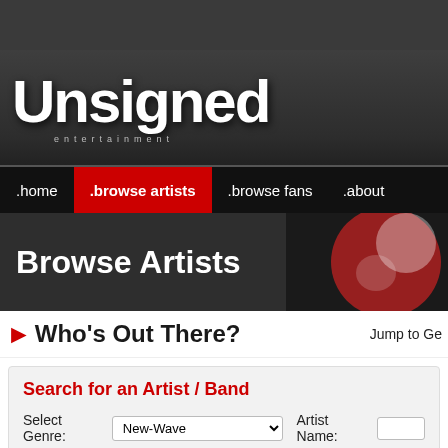[Figure (screenshot): Top dark gray browser chrome bar]
[Figure (logo): Unsigned Entertainment logo — large white serif 'Unsigned' text with 'entertainment' in small caps below, on dark textured background]
.home  .browse artists  .browse fans  .about
Browse Artists
Who's Out There?  Jump to Ge
Search for an Artist / Band
Select Genre: New-Wave  Artist Name: